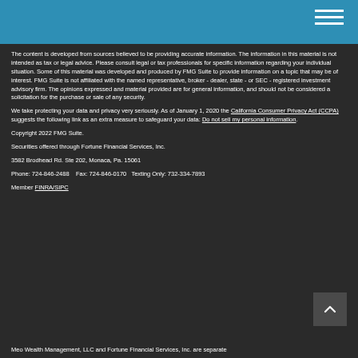The content is developed from sources believed to be providing accurate information. The information in this material is not intended as tax or legal advice. Please consult legal or tax professionals for specific information regarding your individual situation. Some of this material was developed and produced by FMG Suite to provide information on a topic that may be of interest. FMG Suite is not affiliated with the named representative, broker - dealer, state - or SEC - registered investment advisory firm. The opinions expressed and material provided are for general information, and should not be considered a solicitation for the purchase or sale of any security.
We take protecting your data and privacy very seriously. As of January 1, 2020 the California Consumer Privacy Act (CCPA) suggests the following link as an extra measure to safeguard your data: Do not sell my personal information.
Copyright 2022 FMG Suite.
Securities offered through Fortune Financial Services, Inc.
3582 Brodhead Rd. Ste 202, Monaca, Pa. 15061
Phone: 724-846-2488    Fax: 724-846-0170   Texting Only: 732-334-7893
Member FINRA/SIPC
Meo Wealth Management, LLC and Fortune Financial Services, Inc. are separate